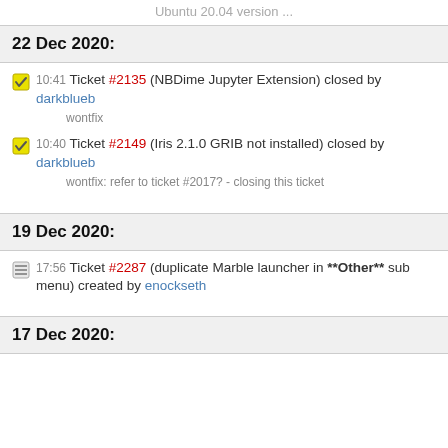Ubuntu 20.04 version ...
22 Dec 2020:
10:41 Ticket #2135 (NBDime Jupyter Extension) closed by darkblueb
wontfix
10:40 Ticket #2149 (Iris 2.1.0 GRIB not installed) closed by darkblueb
wontfix: refer to ticket #2017? - closing this ticket
19 Dec 2020:
17:56 Ticket #2287 (duplicate Marble launcher in **Other** sub menu) created by enockseth
17 Dec 2020: